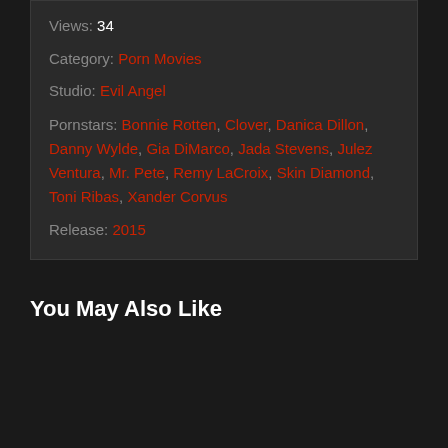Views: 34
Category: Porn Movies
Studio: Evil Angel
Pornstars: Bonnie Rotten, Clover, Danica Dillon, Danny Wylde, Gia DiMarco, Jada Stevens, Julez Ventura, Mr. Pete, Remy LaCroix, Skin Diamond, Toni Ribas, Xander Corvus
Release: 2015
You May Also Like